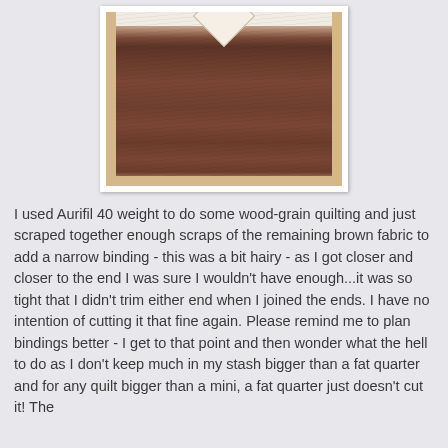[Figure (photo): A quilted fabric piece with dark brown wood-grain quilting and a narrow brown binding, with a small diamond-shaped label at the top center, shown against a white mat background.]
I used Aurifil 40 weight to do some wood-grain quilting and just scraped together enough scraps of the remaining brown fabric to add a narrow binding - this was a bit hairy - as I got closer and closer to the end I was sure I wouldn't have enough...it was so tight that I didn't trim either end when I joined the ends. I have no intention of cutting it that fine again. Please remind me to plan bindings better - I get to that point and then wonder what the hell to do as I don't keep much in my stash bigger than a fat quarter and for any quilt bigger than a mini, a fat quarter just doesn't cut it! The